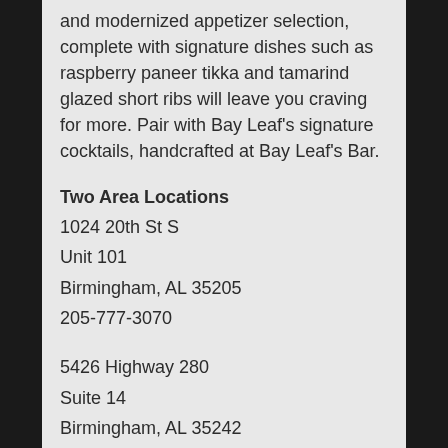and modernized appetizer selection, complete with signature dishes such as raspberry paneer tikka and tamarind glazed short ribs will leave you craving for more. Pair with Bay Leaf's signature cocktails, handcrafted at Bay Leaf's Bar.
Two Area Locations
1024 20th St S
Unit 101
Birmingham, AL 35205
205-777-3070
5426 Highway 280
Suite 14
Birmingham, AL 35242
205-518-0208
Cuisine Type